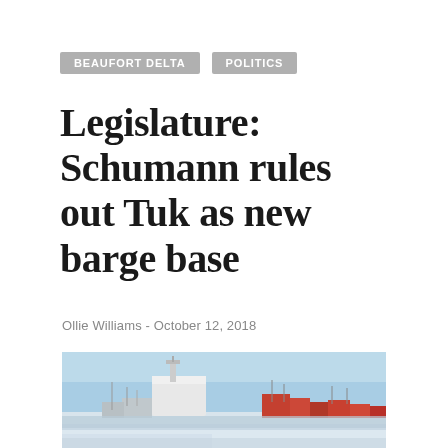BEAUFORT DELTA
POLITICS
Legislature: Schumann rules out Tuk as new barge base
Ollie Williams - October 12, 2018
[Figure (photo): A barge and vessels docked in a frozen Arctic harbour with buildings visible in the background under a clear blue sky, likely Tuktoyaktuk.]